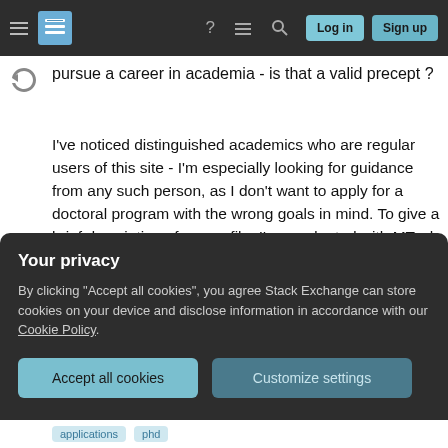Stack Exchange navigation bar with hamburger menu, logo, help, chat, search icons, Log in and Sign up buttons
pursue a career in academia - is that a valid precept ?
I've noticed distinguished academics who are regular users of this site - I'm especially looking for guidance from any such person, as I don't want to apply for a doctoral program with the wrong goals in mind. To give a brief description of my profile, I've graduated with MTech in CS (from a fairly reputable institute in my country) about 2 years back, and been working in a MNC ever since on kernel level device drivers.
Your privacy
By clicking "Accept all cookies", you agree Stack Exchange can store cookies on your device and disclose information in accordance with our Cookie Policy.
Accept all cookies
Customize settings